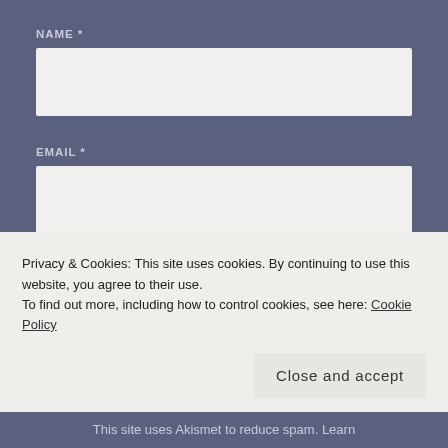NAME *
[Figure (other): Empty text input field for Name]
EMAIL *
[Figure (other): Empty text input field for Email]
WEBSITE
[Figure (other): Empty text input field for Website]
Privacy & Cookies: This site uses cookies. By continuing to use this website, you agree to their use.
To find out more, including how to control cookies, see here: Cookie Policy
Close and accept
This site uses Akismet to reduce spam. Learn